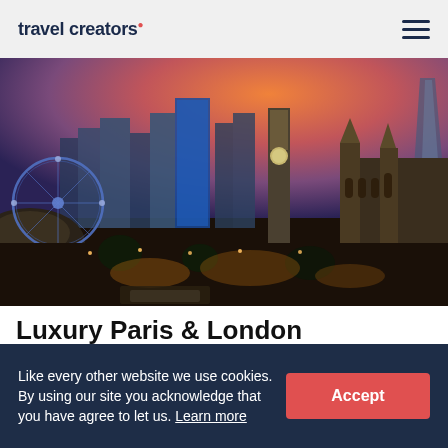travel creators
[Figure (photo): Aerial evening view of London skyline featuring the London Eye, Big Ben, Westminster Abbey, and The Shard with an orange and purple sunset sky]
Luxury Paris & London Experience
From $8,016/pp
Like every other website we use cookies. By using our site you acknowledge that you have agree to let us. Learn more